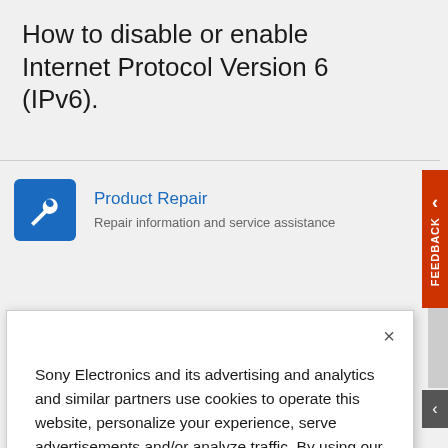How to disable or enable Internet Protocol Version 6 (IPv6).
[Figure (screenshot): Product Repair section with wrench icon and blue link text, plus orange FEEDBACK tab on right side]
Sony Electronics and its advertising and analytics and similar partners use cookies to operate this website, personalize your experience, serve advertisements and/or analyze traffic. By using our site, you acknowledge this notice and agree to the use of cookies on our site and to our Privacy Policy.
Manage Cookies